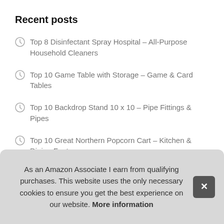Recent posts
Top 8 Disinfectant Spray Hospital – All-Purpose Household Cleaners
Top 10 Game Table with Storage – Game & Card Tables
Top 10 Backdrop Stand 10 x 10 – Pipe Fittings & Pipes
Top 10 Great Northern Popcorn Cart – Kitchen & Dining Features
Top 10 Slipcovers for Furniture Sofa Sectional – Sofa Slipcovers
T… Bott…
T…
T…
As an Amazon Associate I earn from qualifying purchases. This website uses the only necessary cookies to ensure you get the best experience on our website. More information